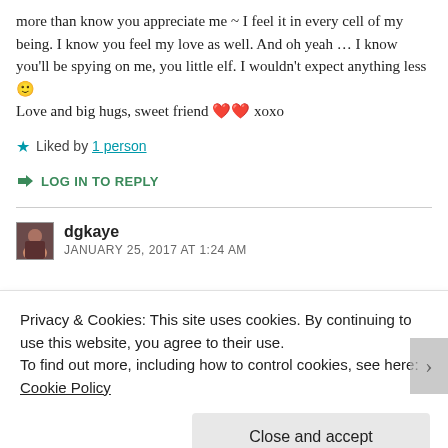more than know you appreciate me ~ I feel it in every cell of my being. I know you feel my love as well. And oh yeah ... I know you'll be spying on me, you little elf. I wouldn't expect anything less 🙂 Love and big hugs, sweet friend ❤❤ xoxo
★ Liked by 1 person
↳ LOG IN TO REPLY
dgkaye
JANUARY 25, 2017 AT 1:24 AM
Privacy & Cookies: This site uses cookies. By continuing to use this website, you agree to their use.
To find out more, including how to control cookies, see here: Cookie Policy
Close and accept